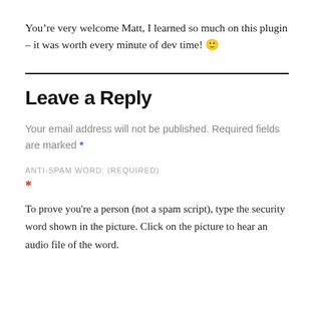You’re very welcome Matt, I learned so much on this plugin – it was worth every minute of dev time! 🙂
Leave a Reply
Your email address will not be published. Required fields are marked *
ANTI-SPAM WORD: (REQUIRED)
*
To prove you're a person (not a spam script), type the security word shown in the picture. Click on the picture to hear an audio file of the word.